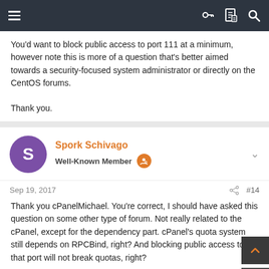Navigation bar with menu, key, document, and search icons
You'd want to block public access to port 111 at a minimum, however note this is more of a question that's better aimed towards a security-focused system administrator or directly on the CentOS forums.

Thank you.
Spork Schivago
Well-Known Member
Sep 19, 2017  #14
Thank you cPanelMichael. You're correct, I should have asked this question on some other type of forum. Not really related to the cPanel, except for the dependency part. cPanel's quota system still depends on RPCBind, right? And blocking public access to that port will not break quotas, right?